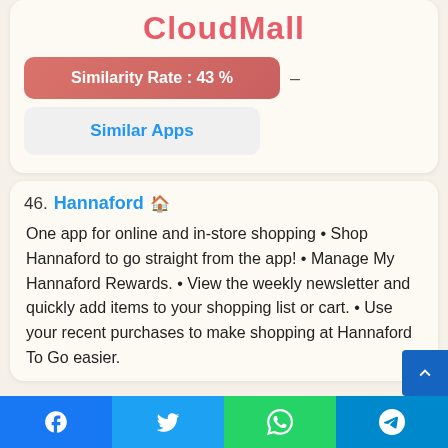[Figure (logo): CloudMall logo in pink/red text]
Similarity Rate : 43 %
Similar Apps
46. Hannaford — One app for online and in-store shopping • Shop Hannaford to go straight from the app! • Manage My Hannaford Rewards. • View the weekly newsletter and quickly add items to your shopping list or cart. • Use your recent purchases to make shopping at Hannaford To Go easier.
Facebook | Twitter | WhatsApp | Telegram share buttons